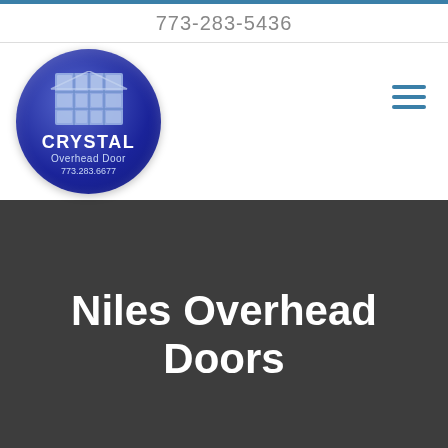773-283-5436
[Figure (logo): Crystal Overhead Door circular logo with blue background, garage door image, text CRYSTAL Overhead Door 773.283.6677]
Niles Overhead Doors